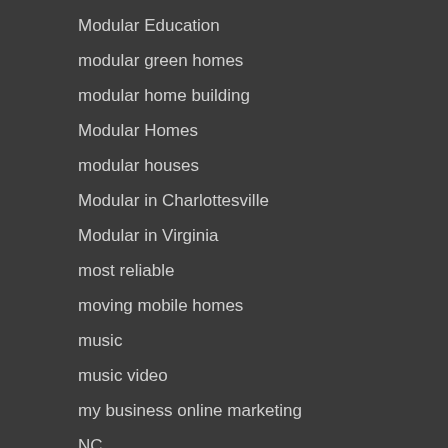Modular Education
modular green homes
modular home building
Modular Homes
modular houses
Modular in Charlottesville
Modular in Virginia
most reliable
moving mobile homes
music
music video
my business online marketing
NC
nearest Realtor Vista CA
new
New Air Conditionin
New Air Conditioning Uni